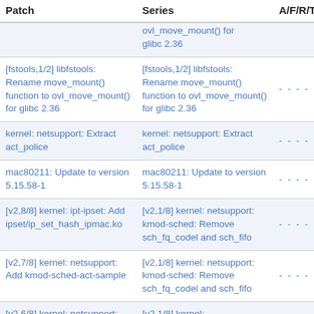| Patch | Series | A/F/R/T | S |
| --- | --- | --- | --- |
|  | ovl_move_mount() for glibc 2.36 |  |  |
| [fstools,1/2] libfstools: Rename move_mount() function to ovl_move_mount() for glibc 2.36 | [fstools,1/2] libfstools: Rename move_mount() function to ovl_move_mount() for glibc 2.36 | - - - - |  |
| kernel: netsupport: Extract act_police | kernel: netsupport: Extract act_police | - - - - |  |
| mac80211: Update to version 5.15.58-1 | mac80211: Update to version 5.15.58-1 | - - - - |  |
| [v2,8/8] kernel: ipt-ipset: Add ipset/ip_set_hash_ipmac.ko | [v2,1/8] kernel: netsupport: kmod-sched: Remove sch_fq_codel and sch_fifo | - - - - |  |
| [v2,7/8] kernel: netsupport: Add kmod-sched-act-sample | [v2,1/8] kernel: netsupport: kmod-sched: Remove sch_fq_codel and sch_fifo | - - - - |  |
| [v2,6/8] kernel: netsupport: | [v2,1/8] kernel: |  |  |